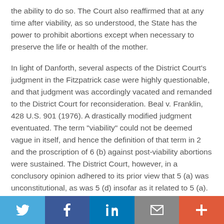the ability to do so. The Court also reaffirmed that at any time after viability, as so understood, the State has the power to prohibit abortions except when necessary to preserve the life or health of the mother.
In light of Danforth, several aspects of the District Court's judgment in the Fitzpatrick case were highly questionable, and that judgment was accordingly vacated and remanded to the District Court for reconsideration. Beal v. Franklin, 428 U.S. 901 (1976). A drastically modified judgment eventuated. The term "viability" could not be deemed vague in itself, and hence the definition of that term in 2 and the proscription of 6 (b) against post-viability abortions were sustained. The District Court, however, in a conclusory opinion adhered to its prior view that 5 (a) was unconstitutional, as was 5 (d) insofar as it related to 5 (a).
Social share bar: Twitter, Facebook, LinkedIn, Email, More